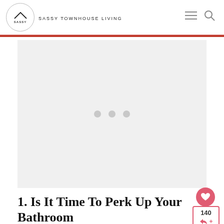SASSY TOWNHOUSE LIVING
[Figure (other): Gray placeholder advertisement block with three gray loading dots in the center]
1. Is It Time To Perk Up Your Bathroom